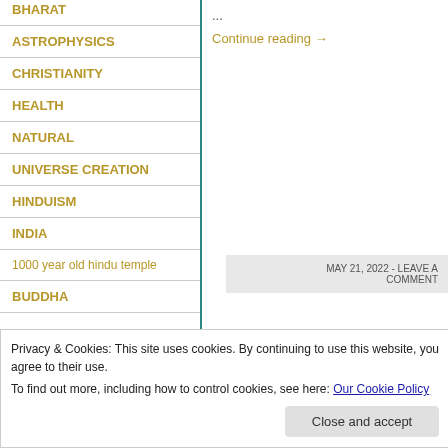BHARAT
ASTROPHYSICS
CHRISTIANITY
HEALTH
NATURAL
UNIVERSE CREATION
HINDUISM
INDIA
1000 year old hindu temple
BUDDHA
...
Continue reading →
MAY 21, 2022 - LEAVE A COMMENT
Privacy & Cookies: This site uses cookies. By continuing to use this website, you agree to their use.
To find out more, including how to control cookies, see here: Our Cookie Policy
Close and accept